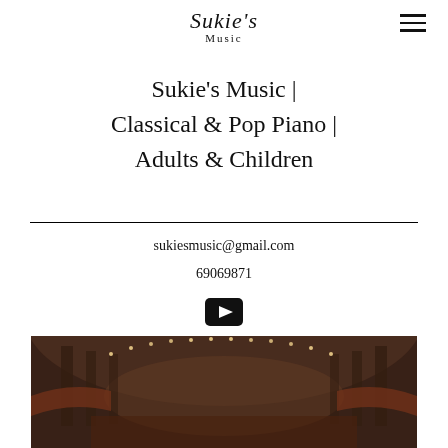[Figure (logo): Sukie's Music logo with cursive 'Sukie's' and 'Music' below]
Sukie's Music | Classical & Pop Piano | Adults & Children
sukiesmusic@gmail.com
69069871
[Figure (other): YouTube play button icon]
[Figure (photo): Concert hall interior with 'Welcome to Sukie's Music' text overlay]